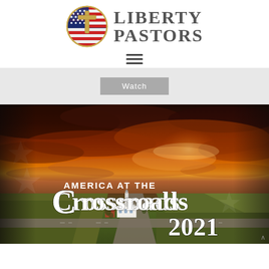[Figure (logo): Liberty Pastors logo with circular emblem showing a gold cross over American flag, and 'Liberty Pastors' text in serif uppercase]
[Figure (other): Hamburger menu icon (three horizontal lines)]
[Figure (other): Light gray banner area with a 'Watch' button in the center]
[Figure (photo): Aerial photo of a rural crossroads with a white church and farm buildings at the intersection, dramatic orange and red sunset sky with American flag stars overlaid, text reads 'AMERICA AT THE Crossroads 2021' in white serif font]